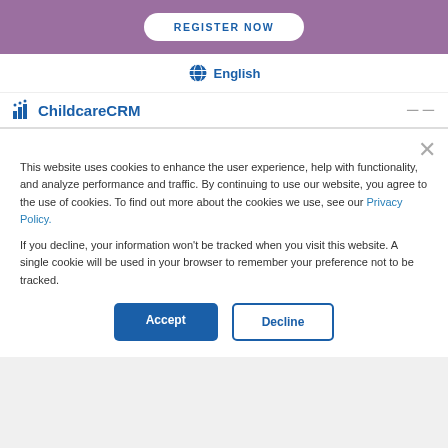REGISTER NOW
English
[Figure (logo): ChildcareCRM logo with icon of figures and bar chart]
This website uses cookies to enhance the user experience, help with functionality, and analyze performance and traffic. By continuing to use our website, you agree to the use of cookies. To find out more about the cookies we use, see our Privacy Policy.
If you decline, your information won't be tracked when you visit this website. A single cookie will be used in your browser to remember your preference not to be tracked.
Accept
Decline